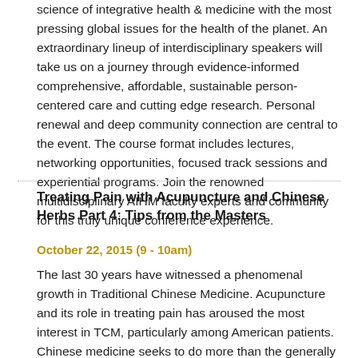science of integrative health & medicine with the most pressing global issues for the health of the planet. An extraordinary lineup of interdisciplinary speakers will take us on a journey through evidence-informed comprehensive, affordable, sustainable person-centered care and cutting edge research. Personal renewal and deep community connection are central to the event. The course format includes lectures, networking opportunities, focused track sessions and experiential programs. Join the renowned multidisciplinary AIHM faculty experts and community for this truly unique conference experience.
Treating Pain with Acupuncture and Chinese Herbs Part 4: Tips from the Masters
October 22, 2015 (9 - 10am)
The last 30 years have witnessed a phenomenal growth in Traditional Chinese Medicine. Acupuncture and its role in treating pain has aroused the most interest in TCM, particularly among American patients. Chinese medicine seeks to do more than the generally palliative relief offered by Western medicine. By using traditional methods of diagnosis, differentiation and treatment selection, authentic Chinese medicine strives to combine the